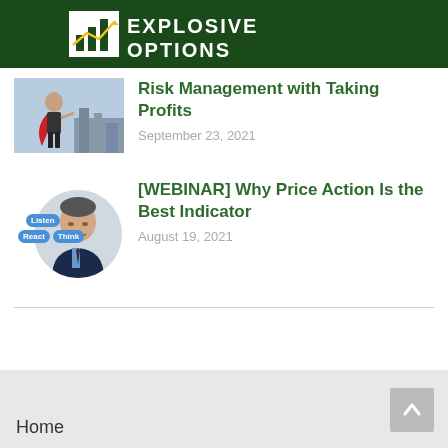[Figure (logo): Explosive Options logo with dark green background, bar chart icon and arrow, white text reading EXPLOSIVE OPTIONS]
Risk Management with Taking Profits
September 23, 2021
[Figure (photo): Photo of man in suit with red cape; beside it a circular portrait of a smiling businessman with Listen/React/Think badges]
[WEBINAR] Why Price Action Is the Best Indicator
August 19, 2021
Home